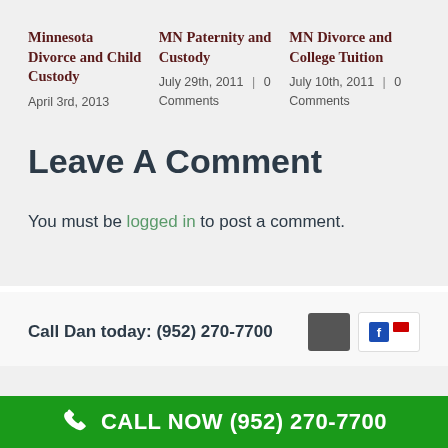Minnesota Divorce and Child Custody
April 3rd, 2013
MN Paternity and Custody
July 29th, 2011  |  0 Comments
MN Divorce and College Tuition
July 10th, 2011  |  0 Comments
Leave A Comment
You must be logged in to post a comment.
Call Dan today: (952) 270-7700
CALL NOW (952) 270-7700